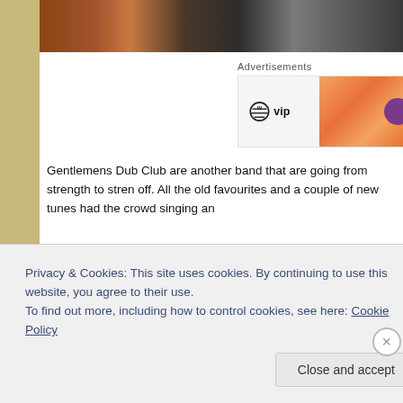[Figure (photo): Photo strip at top showing people at what appears to be an outdoor event or concert, partial view cropped at page top]
Advertisements
[Figure (logo): WordPress VIP logo on light grey background next to an orange gradient advertisement banner]
Gentlemens Dub Club are another band that are going from strength to strength off. All the old favourites and a couple of new tunes had the crowd singing an
Reviewers: Mark Parker & Graeme
Privacy & Cookies: This site uses cookies. By continuing to use this website, you agree to their use.
To find out more, including how to control cookies, see here: Cookie Policy
Close and accept